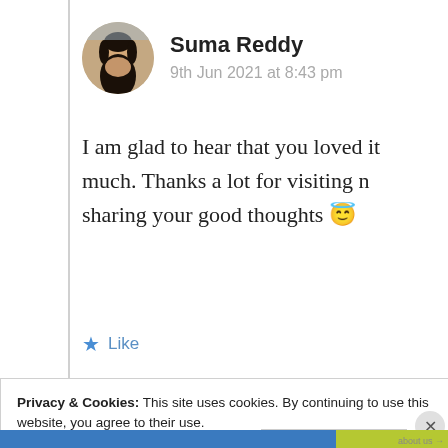[Figure (photo): Circular avatar photo of Suma Reddy, a woman with dark hair]
Suma Reddy
9th Jun 2021 at 8:43 pm
I am glad to hear that you loved it much. Thanks a lot for visiting n sharing your good thoughts 😇
★ Like
Log in to Reply
Privacy & Cookies: This site uses cookies. By continuing to use this website, you agree to their use.
To find out more, including how to control cookies, see here: Cookie Policy
Close and accept